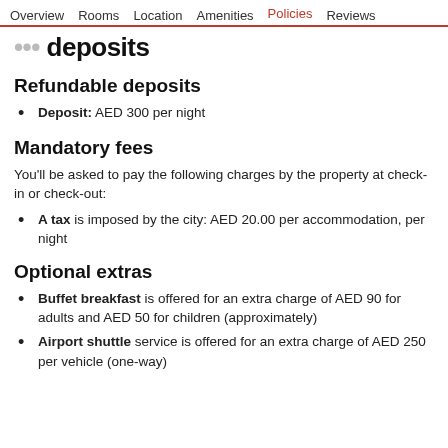Overview   Rooms   Location   Amenities   Policies   Reviews
...deposits
Refundable deposits
Deposit: AED 300 per night
Mandatory fees
You'll be asked to pay the following charges by the property at check-in or check-out:
A tax is imposed by the city: AED 20.00 per accommodation, per night
Optional extras
Buffet breakfast is offered for an extra charge of AED 90 for adults and AED 50 for children (approximately)
Airport shuttle service is offered for an extra charge of AED 250 per vehicle (one-way)